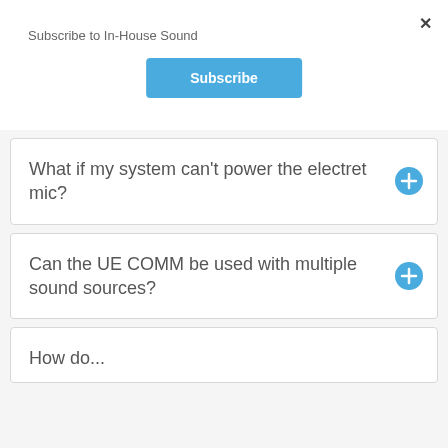Subscribe to In-House Sound
×
Subscribe
What if my system can't power the electret mic?
Can the UE COMM be used with multiple sound sources?
How do...